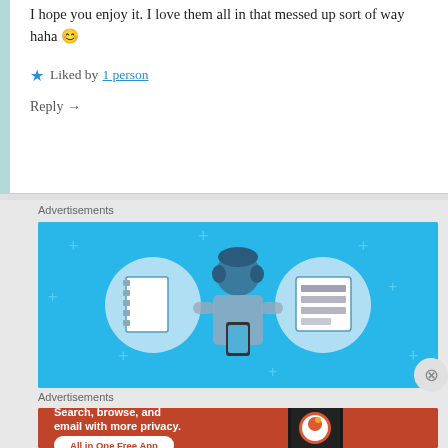I hope you enjoy it. I love them all in that messed up sort of way haha 😊
★ Liked by 1 person
Reply →
Advertisements
[Figure (illustration): Blue advertisement banner showing a person holding a phone with notebook icons on either side, plus signs scattered on background]
Advertisements
[Figure (illustration): DuckDuckGo orange/red advertisement: 'Search, browse, and email with more privacy. All in One Free App' with a phone mockup and DuckDuckGo logo]